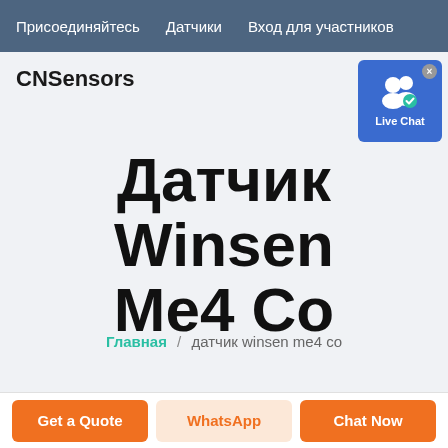Присоединяйтесь   Датчики   Вход для участников
[Figure (logo): CNSensors logo text in bold black]
[Figure (screenshot): Live Chat widget button with user icon and blue background]
Датчик Winsen Me4 Co
Главная / датчик winsen me4 co
Get a Quote   WhatsApp   Chat Now